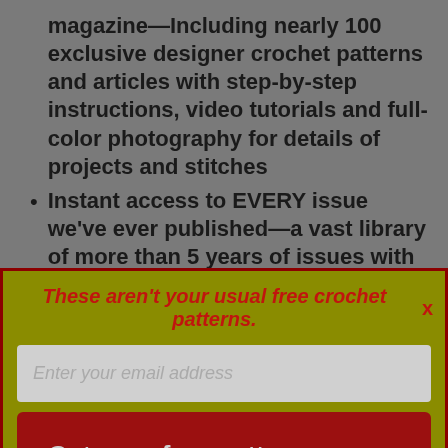magazine—Including nearly 100 exclusive designer crochet patterns and articles with step-by-step instructions, video tutorials and full-color photography for details of projects and stitches
Instant access to EVERY issue we've ever published—a vast library of more than 5 years of issues with 700+ patterns and articles
A full-year's subscription to the I Like Crochet Collections Club that includes gorgeous designer patterns
These aren't your usual free crochet patterns.
Enter your email address
Get your free patterns now »